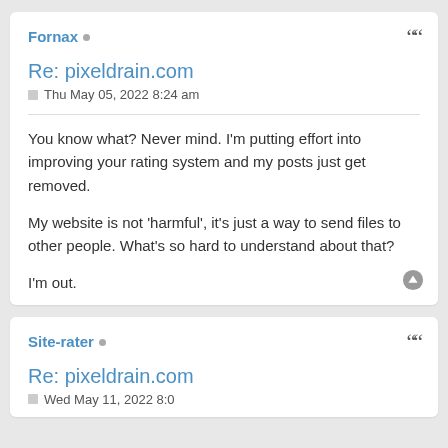Fornax •
Re: pixeldrain.com
Thu May 05, 2022 8:24 am
You know what? Never mind. I'm putting effort into improving your rating system and my posts just get removed.

My website is not 'harmful', it's just a way to send files to other people. What's so hard to understand about that?

I'm out.
Site-rater •
Re: pixeldrain.com
Wed May 11, 2022 8:0?